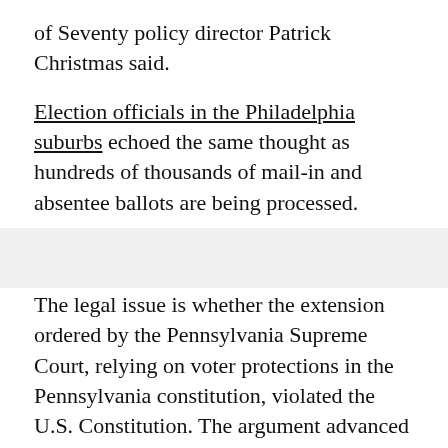of Seventy policy director Patrick Christmas said.
Election officials in the Philadelphia suburbs echoed the same thought as hundreds of thousands of mail-in and absentee ballots are being processed.
The legal issue is whether the extension ordered by the Pennsylvania Supreme Court, relying on voter protections in the Pennsylvania constitution, violated the U.S. Constitution. The argument advanced by Republicans is that the Constitution gives state legislatures – not state courts – the power to decide how electoral votes are awarded, including whether absentee ballots received after Election Day can be counted.